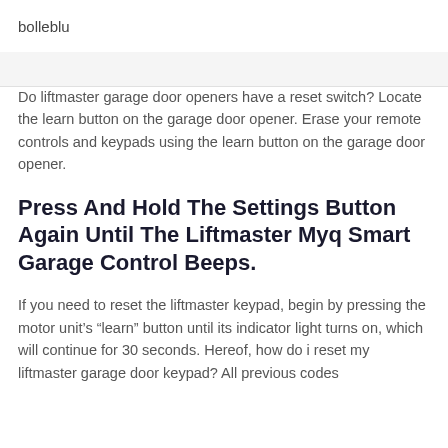bolleblu
Do liftmaster garage door openers have a reset switch? Locate the learn button on the garage door opener. Erase your remote controls and keypads using the learn button on the garage door opener.
Press And Hold The Settings Button Again Until The Liftmaster Myq Smart Garage Control Beeps.
If you need to reset the liftmaster keypad, begin by pressing the motor unit's “learn” button until its indicator light turns on, which will continue for 30 seconds. Hereof, how do i reset my liftmaster garage door keypad? All previous codes